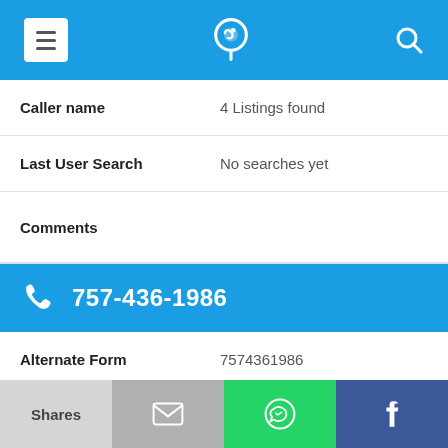[Figure (screenshot): Mobile app top navigation bar with hamburger menu, phone-location logo, and search icon on blue background]
Caller name | 4 Listings found
Last User Search | No searches yet
Comments
757-436-1986
Alternate Form | 7574361986
Caller name | Luckenbach M
Last User Search | No searches yet
[Figure (screenshot): Bottom share bar with Shares, email, WhatsApp, and Facebook buttons]